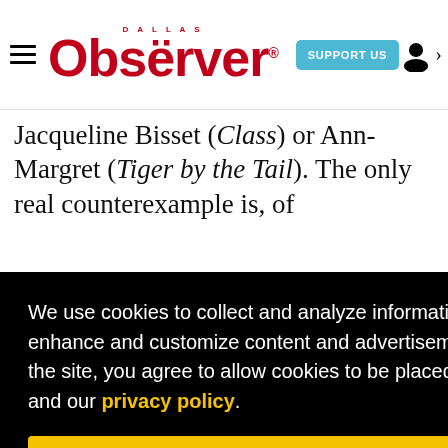Observer — SUPPORT US
Jacqueline Bisset (Class) or Ann-Margret (Tiger by the Tail). The only real counterexample is, of
[Figure (screenshot): Cookie consent overlay on black background with yellow 'Got it!' button. Text: 'We use cookies to collect and analyze information on site performance and usage, and to enhance and customize content and advertisements. By clicking Got it or continuing to use the site, you agree to allow cookies to be placed. To find out more, visit our cookies policy and our privacy policy.']
Jungle and (more tellingly) The Truth About